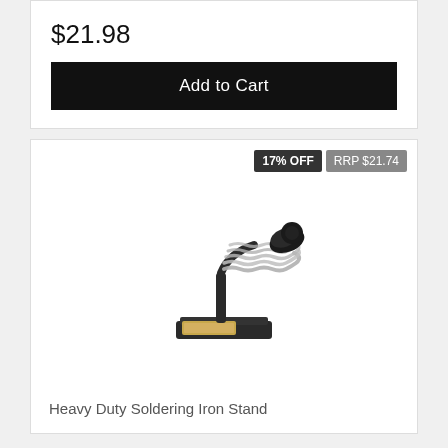$21.98
Add to Cart
17% OFF
RRP $21.74
[Figure (photo): Heavy Duty Soldering Iron Stand product photo showing a metal spring coil holder on a black base with a tan cleaning pad]
Heavy Duty Soldering Iron Stand